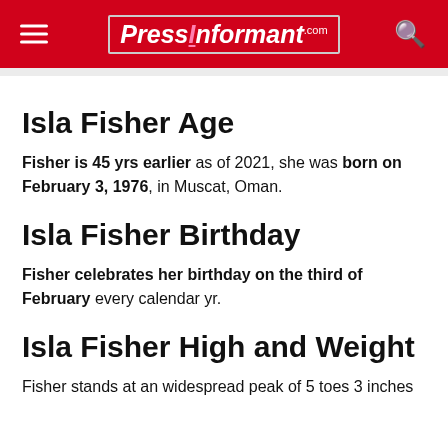PressInformant.com
Isla Fisher Age
Fisher is 45 yrs earlier as of 2021, she was born on February 3, 1976, in Muscat, Oman.
Isla Fisher Birthday
Fisher celebrates her birthday on the third of February every calendar yr.
Isla Fisher High and Weight
Fisher stands at an widespread peak of 5 toes 3 inches